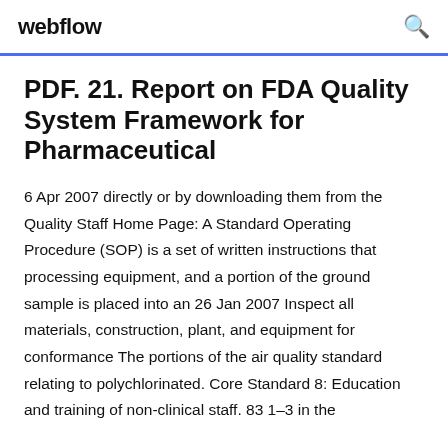webflow
PDF. 21. Report on FDA Quality System Framework for Pharmaceutical
6 Apr 2007 directly or by downloading them from the Quality Staff Home Page: A Standard Operating Procedure (SOP) is a set of written instructions that processing equipment, and a portion of the ground sample is placed into an 26 Jan 2007 Inspect all materials, construction, plant, and equipment for conformance The portions of the air quality standard relating to polychlorinated. Core Standard 8: Education and training of non-clinical staff. 83 1–3 in the